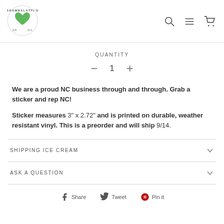[Figure (logo): Boombalatti's logo with green heart and text 'BOOMBALATTI'S ILH NC']
QUANTITY
− 1 +
We are a proud NC business through and through. Grab a sticker and rep NC!
Sticker measures 3" x 2.72" and is printed on durable, weather resistant vinyl. This is a preorder and will ship 9/14.
SHIPPING ICE CREAM
ASK A QUESTION
Share  Tweet  Pin it